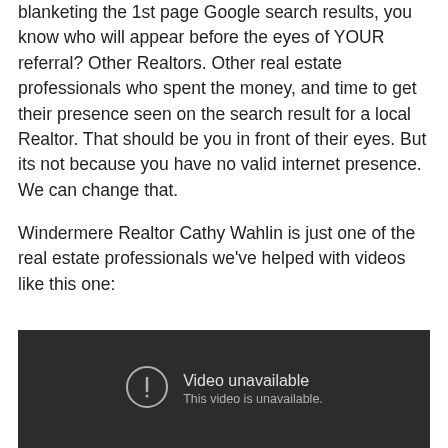blanketing the 1st page Google search results, you know who will appear before the eyes of YOUR referral? Other Realtors. Other real estate professionals who spent the money, and time to get their presence seen on the search result for a local Realtor. That should be you in front of their eyes. But its not because you have no valid internet presence. We can change that.
Windermere Realtor Cathy Wahlin is just one of the real estate professionals we've helped with videos like this one:
[Figure (screenshot): Embedded video player showing 'Video unavailable' message on a dark background with a circle-exclamation icon and text 'This video is unavailable.']